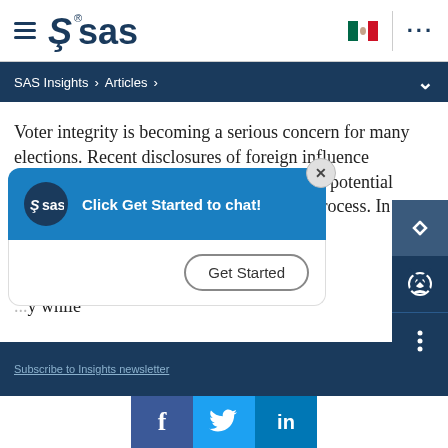SAS logo navigation bar with hamburger menu, SAS logo, Mexico flag, and ellipsis menu
SAS Insights > Articles >
Voter integrity is becoming a serious concern for many elections. Recent disclosures of foreign influence campaigns using social media highlight the potential impact on the integrity of the democratic process. In monitoring vo... systems, ...and ... y while
[Figure (screenshot): SAS chat widget popup with blue header showing SAS logo and text 'Click Get Started to chat!' with a 'Get Started' button and X close button]
Subscribe to Insights newsletter
[Figure (infographic): Social media share buttons: Facebook (f), Twitter bird, LinkedIn (in) icons in blue squares]